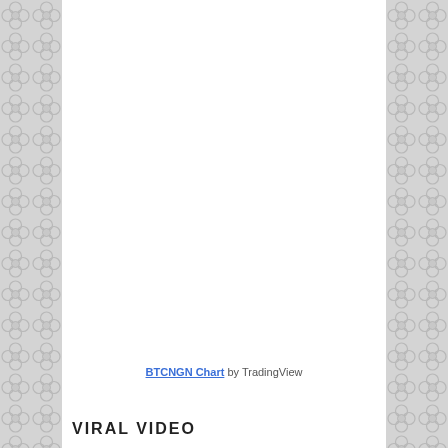[Figure (other): Decorative arabesque/quatrefoil tiled pattern on left and right side margins in gray tones]
BTCNGN Chart by TradingView
VIRAL VIDEO